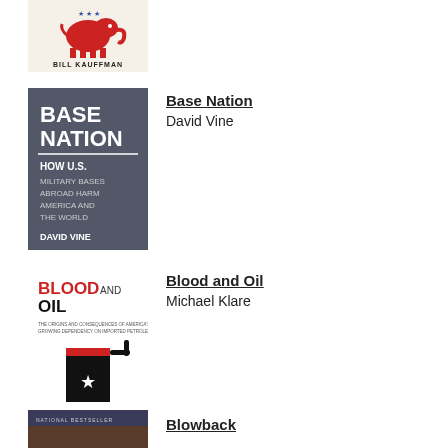[Figure (illustration): Book cover: Bill Kauffman - Republican elephant logo on cream background]
[Figure (illustration): Book cover: Base Nation - How U.S. Military Bases Abroad Harm America and the World by David Vine, dark grey cover with large text]
Base Nation
David Vine
[Figure (illustration): Book cover: Blood and Oil by Michael Klare, white background with red text and black gas pump illustration with white star]
Blood and Oil
Michael Klare
[Figure (illustration): Book cover: Blowback - partial view at bottom, National Bestseller label visible]
Blowback